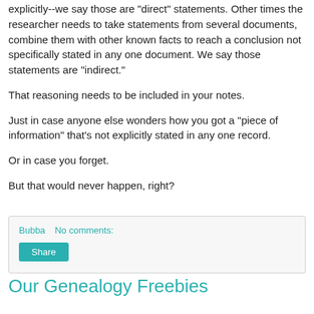explicitly--we say those are "direct" statements. Other times the researcher needs to take statements from several documents, combine them with other known facts to reach a conclusion not specifically stated in any one document. We say those statements are "indirect."
That reasoning needs to be included in your notes.
Just in case anyone else wonders how you got a "piece of information" that's not explicitly stated in any one record.
Or in case you forget.
But that would never happen, right?
Bubba   No comments:
Share
Our Genealogy Freebies